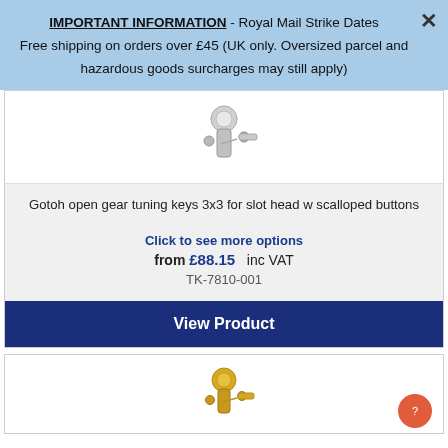IMPORTANT INFORMATION - Royal Mail Strike Dates
Free shipping on orders over £45 (UK only. Oversized parcel and hazardous goods surcharges may still apply)
[Figure (photo): Silver/chrome guitar tuning keys (3x3 open gear type) on white background]
Gotoh open gear tuning keys 3x3 for slot head w scalloped buttons
Click to see more options
from £88.15  inc VAT
TK-7810-001
View Product
[Figure (photo): Gold guitar tuning keys (3x3 open gear type) on white background]